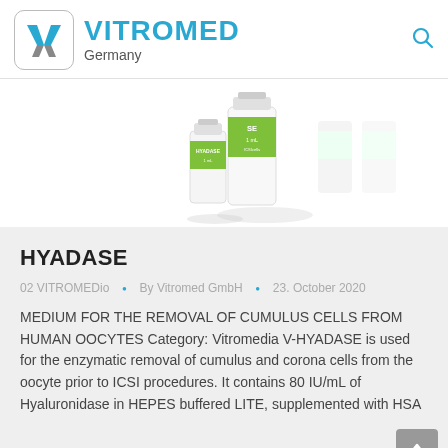[Figure (logo): Vitromed Germany logo with stylized V/M icon in a rounded square, company name in teal/blue]
[Figure (photo): Two small glass vials/ampoules with green labels, product containers for HYADASE, white background with reflections]
HYADASE
02 VITROMEDio • By Vitromed GmbH • 23. October 2020
MEDIUM FOR THE REMOVAL OF CUMULUS CELLS FROM HUMAN OOCYTES Category: Vitromedia V-HYADASE is used for the enzymatic removal of cumulus and corona cells from the oocyte prior to ICSI procedures. It contains 80 IU/mL of Hyaluronidase in HEPES buffered LITE, supplemented with HSA